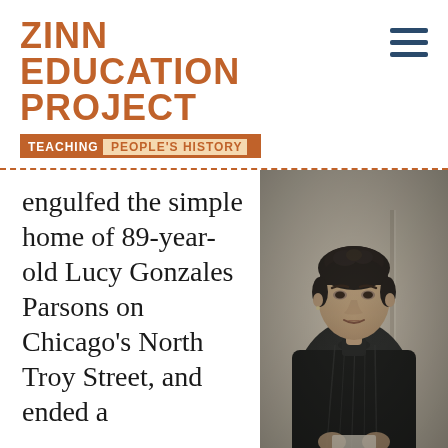ZINN EDUCATION PROJECT — TEACHING PEOPLE'S HISTORY
engulfed the simple home of 89-year-old Lucy Gonzales Parsons on Chicago's North Troy Street, and ended a
[Figure (photo): Black and white historical portrait photograph of Lucy Gonzales Parsons, a woman in a Victorian-era dark dress with high collar, holding something in her hands, looking directly at the camera.]